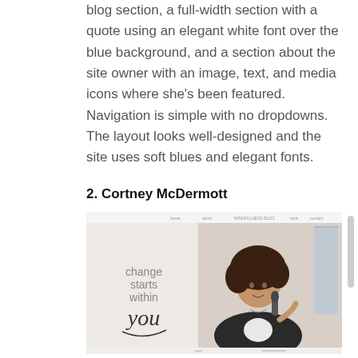blog section, a full-width section with a quote using an elegant white font over the blue background, and a section about the site owner with an image, text, and media icons where she's been featured. Navigation is simple with no dropdowns. The layout looks well-designed and the site uses soft blues and elegant fonts.
2. Cortney McDermott
[Figure (screenshot): Screenshot of Cortney McDermott website showing a woman with curly hair speaking into a microphone, wearing a black jacket. On the left side text reads 'change starts within you' in script and serif fonts on a light background.]